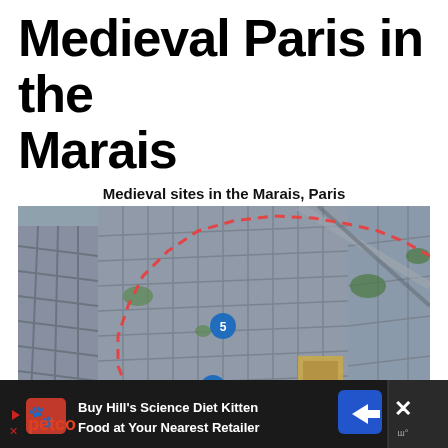Medieval Paris in the Marais
Medieval sites in the Marais, Paris
[Figure (map): Aerial/satellite 3D view of the Marais district in Paris showing medieval sites numbered 1-6 connected by a red dashed boundary line. Blue circular markers indicate site locations: 1 (bottom-left area), 2 (center-left), 3 (center-bottom), 4 (center-bottom), 5 (upper-center), 6 (right side). The map shows dense Parisian street grid with the Seine river visible at lower left.]
[Figure (infographic): Advertisement bar at bottom: Petco logo with red dog icon and play button, text 'Buy Hill's Science Diet Kitten Food at Your Nearest Retailer', blue arrow direction sign, and close button with X and temperature icon on dark background.]